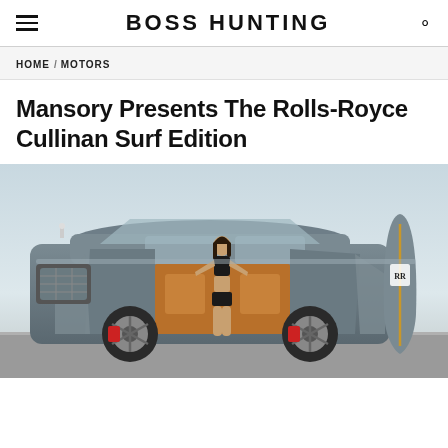BOSS HUNTING
HOME / MOTORS
Mansory Presents The Rolls-Royce Cullinan Surf Edition
[Figure (photo): A grey Rolls-Royce Cullinan SUV with doors open, a woman in a black bikini standing in the doorway, and a surfboard with the RR logo leaning against the rear, photographed at a beach location.]